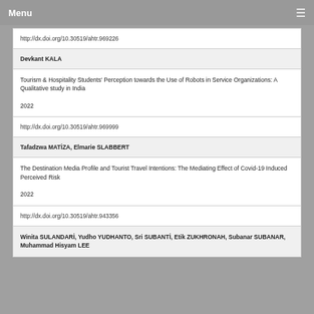Menu
http://dx.doi.org/10.30519/ahtr.969226
Devkant KALA
Tourism & Hospitality Students' Perception towards the Use of Robots in Service Organizations: A Qualitative study in India
2022
http://dx.doi.org/10.30519/ahtr.969999
Tafadzwa MATİZA, Elmarie SLABBERT
The Destination Media Profile and Tourist Travel Intentions: The Mediating Effect of Covid-19 Induced Perceived Risk
2022
http://dx.doi.org/10.30519/ahtr.943356
Winita SULANDARİ, Yudho YUDHANTO, Sri SUBANTİ, Etik ZUKHRONAH, Subanar SUBANAR, Muhammad Hisyam LEE